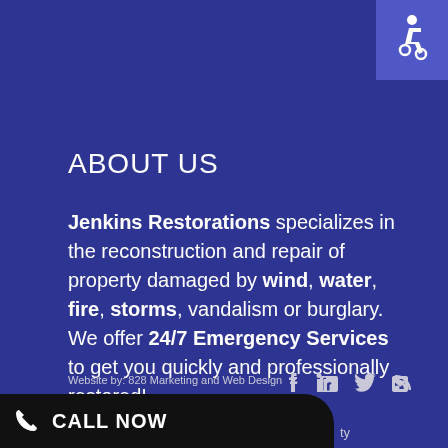[Figure (illustration): Accessibility wheelchair icon badge in upper right corner, purple/blue background square]
ABOUT US
Jenkins Restorations specializes in the reconstruction and repair of property damaged by wind, water, fire, storms, vandalism or burglary. We offer 24/7 Emergency Services to get you quickly and professionally restored!
Website by: 828 Marketing and Web Design
[Figure (illustration): Social media icons: Facebook, LinkedIn, Twitter, RSS feed]
[Figure (illustration): Black call bar with phone icon and CALL NOW text at bottom of page]